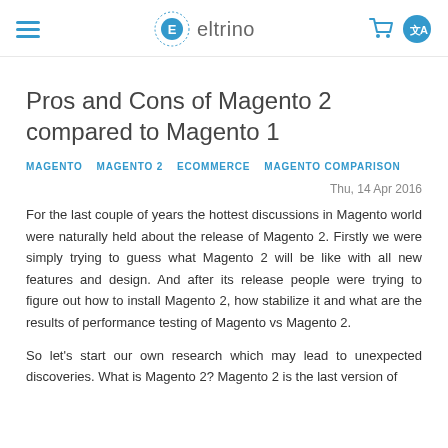eltrino
Pros and Cons of Magento 2 compared to Magento 1
MAGENTO   MAGENTO 2   ECOMMERCE   MAGENTO COMPARISON
Thu, 14 Apr 2016
For the last couple of years the hottest discussions in Magento world were naturally held about the release of Magento 2. Firstly we were simply trying to guess what Magento 2 will be like with all new features and design. And after its release people were trying to figure out how to install Magento 2, how stabilize it and what are the results of performance testing of Magento vs Magento 2.
So let's start our own research which may lead to unexpected discoveries. What is Magento 2? Magento 2 is the last version of